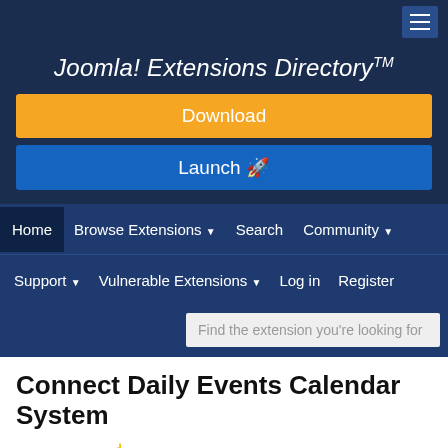[Figure (screenshot): Hamburger menu icon button in top right corner]
Joomla! Extensions Directory™
Download
Launch 🚀
Home | Browse Extensions | Search | Community | Support | Vulnerable Extensions | Log in | Register
Find the extension you're looking for
Connect Daily Events Calendar System
3 reviews